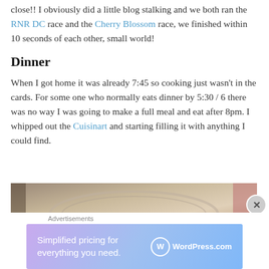close!! I obviously did a little blog stalking and we both ran the RNR DC race and the Cherry Blossom race, we finished within 10 seconds of each other, small world!
Dinner
When I got home it was already 7:45 so cooking just wasn't in the cards. For some one who normally eats dinner by 5:30 / 6 there was no way I was going to make a full meal and eat after 8pm. I whipped out the Cuisinart and starting filling it with anything I could find.
[Figure (photo): Close-up photo of what appears to be a clear glass or plastic bowl/container on a light surface, with a pink or red object partially visible at the right edge.]
Advertisements
[Figure (infographic): WordPress.com advertisement banner: 'Simplified pricing for everything you need.' with WordPress.com logo on a purple-to-blue gradient background.]